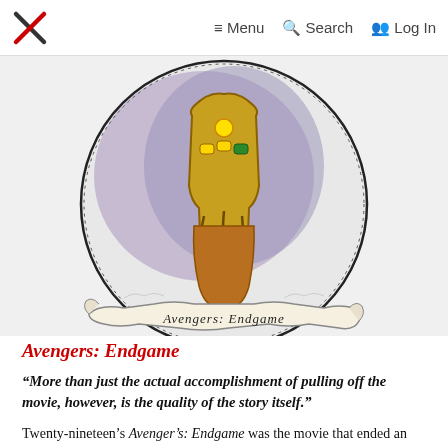≡ Menu  Q Search  ⁙⁙ Log In
[Figure (illustration): Circular illustrated emblem of Thanos's Infinity Gauntlet in a decorative medallion style, with purple/grey background and gold/yellow gauntlet, watercolor style, with scroll banner reading 'Avengers: Endgame']
Avengers: Endgame
“More than just the actual accomplishment of pulling off the movie, however, is the quality of the story itself.”
Twenty-nineteen’s Avenger’s: Endgame was the movie that ended an era. Although not the official final installment of the 23-movie, 3-phase Infinity Saga